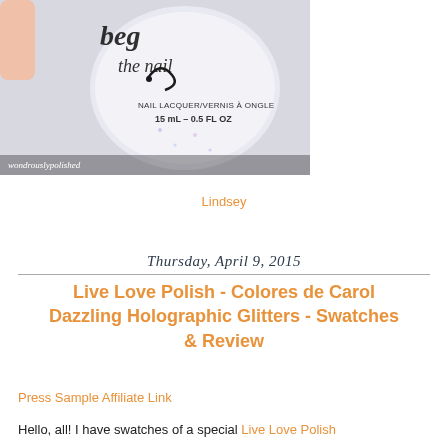[Figure (photo): Close-up photograph of a nail polish bottle labeled 'beg the nail' with text 'NAIL LACQUER/VERNIS A ONGLE, 15 mL - 0.5 FL OZ', watermark 'wondrouslypolished' at bottom left]
Lindsey
Thursday, April 9, 2015
Live Love Polish - Colores de Carol Dazzling Holographic Glitters - Swatches & Review
Press Sample Affiliate Link
Hello, all! I have swatches of a special Live Love Polish